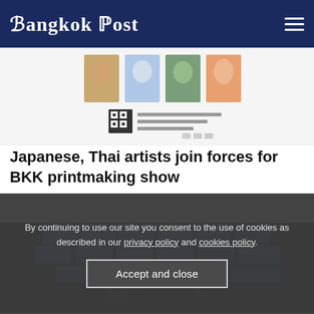Bangkok Post
[Figure (photo): Partial view of a printmaking exhibition promotional image showing artwork thumbnails and a QR code]
Japanese, Thai artists join forces for BKK printmaking show
[Figure (photo): Performance or stage photo showing blue illuminated grid panels on ceiling and two performers in dark foreground]
By continuing to use our site you consent to the use of cookies as described in our privacy policy and cookies policy.
Accept and close